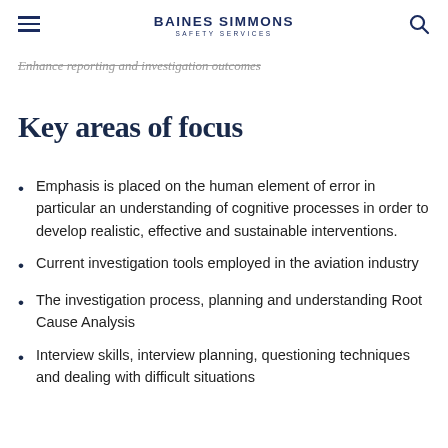BAINES SIMMONS SAFETY SERVICES
Enhance reporting and investigation outcomes
Key areas of focus
Emphasis is placed on the human element of error in particular an understanding of cognitive processes in order to develop realistic, effective and sustainable interventions.
Current investigation tools employed in the aviation industry
The investigation process, planning and understanding Root Cause Analysis
Interview skills, interview planning, questioning techniques and dealing with difficult situations